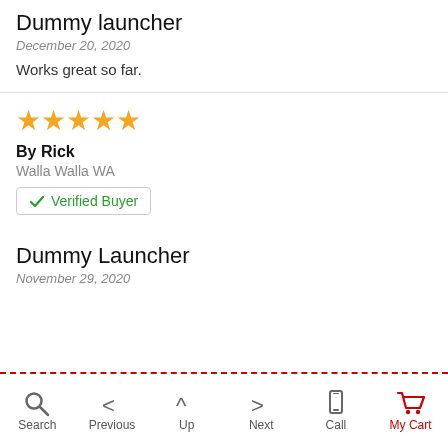Dummy launcher
December 20, 2020
Works great so far.
[Figure (other): 5 gold star rating]
By Rick
Walla Walla WA
[Figure (other): Verified Buyer badge with green checkmark]
Dummy Launcher
November 29, 2020
Search | Previous | Up | Next | Call | My Cart